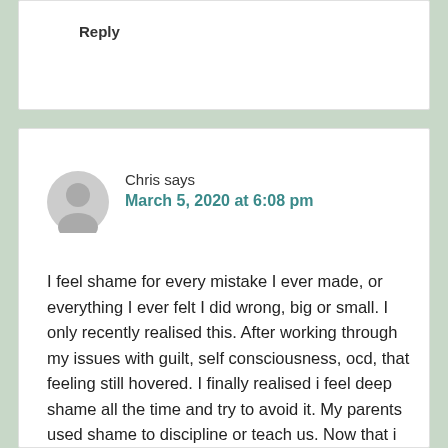Reply
Chris says
March 5, 2020 at 6:08 pm
I feel shame for every mistake I ever made, or everything I ever felt I did wrong, big or small. I only recently realised this. After working through my issues with guilt, self consciousness, ocd, that feeling still hovered. I finally realised i feel deep shame all the time and try to avoid it. My parents used shame to discipline or teach us. Now that i can remember it… when they would shame me or threatened to